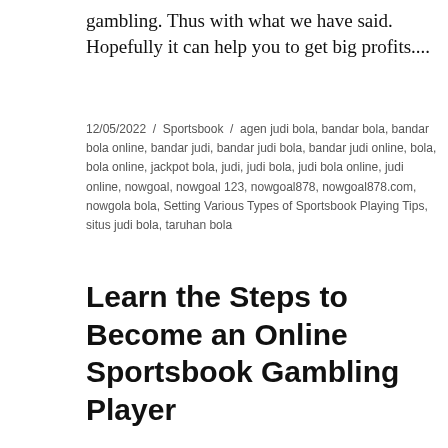gambling. Thus with what we have said. Hopefully it can help you to get big profits....
12/05/2022 / Sportsbook / agen judi bola, bandar bola, bandar bola online, bandar judi, bandar judi bola, bandar judi online, bola, bola online, jackpot bola, judi, judi bola, judi bola online, judi online, nowgoal, nowgoal 123, nowgoal878, nowgoal878.com, nowgola bola, Setting Various Types of Sportsbook Playing Tips, situs judi bola, taruhan bola
Learn the Steps to Become an Online Sportsbook Gambling Player